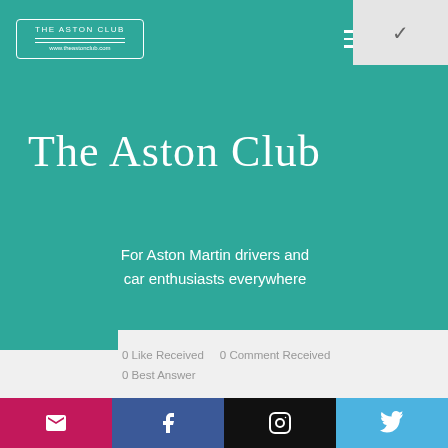The Aston Club — www.theastonclub.com
The Aston Club
For Aston Martin drivers and car enthusiasts everywhere
0 Like Received   0 Comment Received
0 Best Answer
Deca durabolin 50 mg uses, deca durabolin 50 mg price in india in hindi
Email | Facebook | Instagram | Twitter